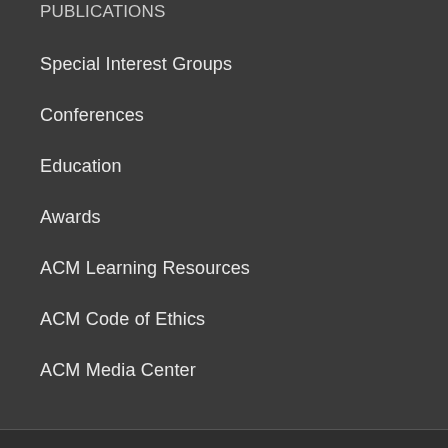Publications
Special Interest Groups
Conferences
Education
Awards
ACM Learning Resources
ACM Code of Ethics
ACM Media Center